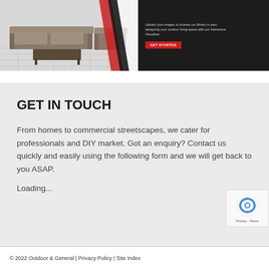[Figure (screenshot): Website banner showing outdoor patio furniture on the left and a dark UI panel on the right with 'GET STARTED' red button and small text about uploading images or browsing library to start designing your outdoor living space with their Interactive Visualiser.]
GET IN TOUCH
From homes to commercial streetscapes, we cater for professionals and DIY market. Got an enquiry? Contact us quickly and easily using the following form and we will get back to you ASAP.
Loading...
[Figure (logo): reCAPTCHA badge with spinning arrows logo and Privacy - Terms links]
© 2022 Outdoor & General | Privacy Policy | Site Index